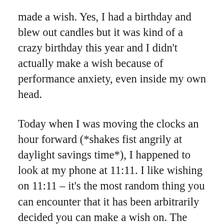made a wish. Yes, I had a birthday and blew out candles but it was kind of a crazy birthday this year and I didn't actually make a wish because of performance anxiety, even inside my own head.
Today when I was moving the clocks an hour forward (*shakes fist angrily at daylight savings time*), I happened to look at my phone at 11:11. I like wishing on 11:11 – it's the most random thing you can encounter that it has been arbitrarily decided you can make a wish on. The first wish that came to me was an impossible wish. It wasn't even a hope or a dream, it was straight up the kind of wish you shouldn't make because it hurts you just